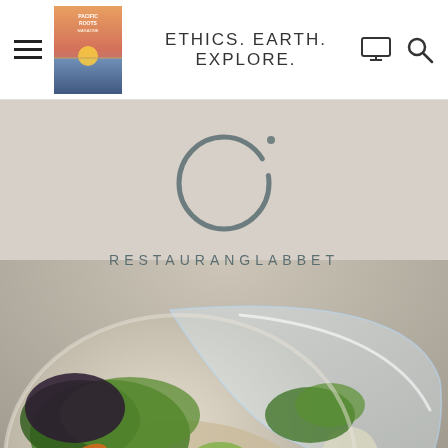ETHICS. EARTH. EXPLORE.
[Figure (logo): Restauranglabbet circular brush-stroke logo with dot, above text RESTAURANGLABBET on a light paper/linen background]
[Figure (photo): Top-down view of a colorful vegetarian/vegan food bowl in a white compostable container with a clear plastic lid being removed, containing salad greens, edible flowers, seeds, potatoes, vegetables and grains. Set on a light sandy/beach background.]